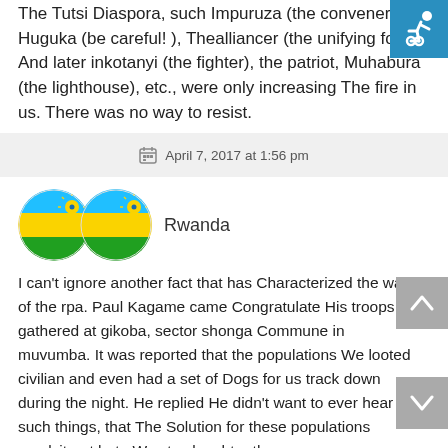The Tutsi Diaspora, such Impuruza (the convener), Huguka (be careful! ), Thealliancer (the unifying for And later inkotanyi (the fighter), the patriot, Muhabura (the lighthouse), etc., were only increasing The fire in us. There was no way to resist.
[Figure (logo): Accessibility icon - wheelchair symbol on teal/blue background]
April 7, 2017 at 1:56 pm
[Figure (illustration): Two circular Rwanda flag icons side by side]
Rwanda
I can't ignore another fact that has Characterized the war of the rpa. Paul Kagame came Congratulate His troops gathered at gikoba, sector shonga Commune in muvumba. It was reported that the populations We looted civilian and even had a set of Dogs for us track down during the night. He replied He didn't want to ever hear such things, that The Solution for these populations recalcitrant hutu Was to slaughter them